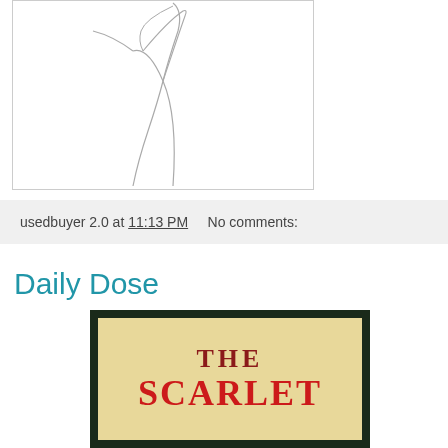[Figure (illustration): Partial line sketch illustration of a figure, cropped at bottom, showing upper body outline in grey lines on white background]
usedbuyer 2.0 at 11:13 PM    No comments:
Daily Dose
[Figure (photo): Book cover of 'The Scarlet Letter' with dark green/black border and cream/tan background, red serif text reading 'THE' and 'SCARLET']